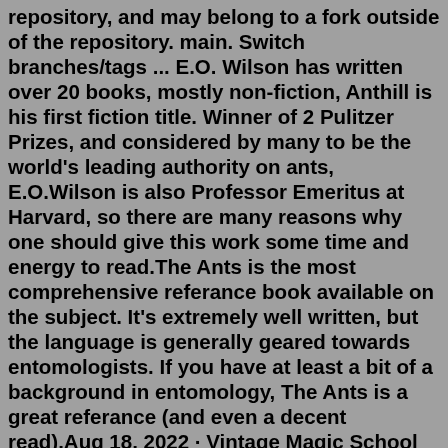repository, and may belong to a fork outside of the repository. main. Switch branches/tags ... E.O. Wilson has written over 20 books, mostly non-fiction, Anthill is his first fiction title. Winner of 2 Pulitzer Prizes, and considered by many to be the world's leading authority on ants, E.O.Wilson is also Professor Emeritus at Harvard, so there are many reasons why one should give this work some time and energy to read.The Ants is the most comprehensive referance book available on the subject. It's extremely well written, but the language is generally geared towards entomologists. If you have at least a bit of a background in entomology, The Ants is a great referance (and even a decent read).Aug 18, 2022 · Vintage Magic School Bus Gets Ants In Its Pants Book Ant Habitat Farm Toy 1996. AU $35.00 + AU $30.00 postage + AU $30.00 postage + AU $30.00 postage. Charlotte Sleigh. 3.39 · Rating details · 64 ratings · 14 reviews. Ants are legion: at present there are 11,006 species of ant known; they live everywhere in the world except the polar icecaps; and the